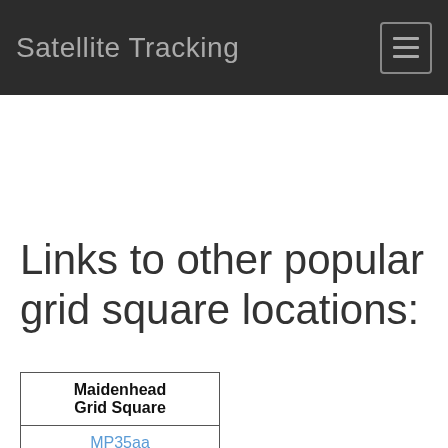Satellite Tracking
Links to other popular grid square locations:
| Maidenhead Grid Square |
| --- |
| MP35aa |